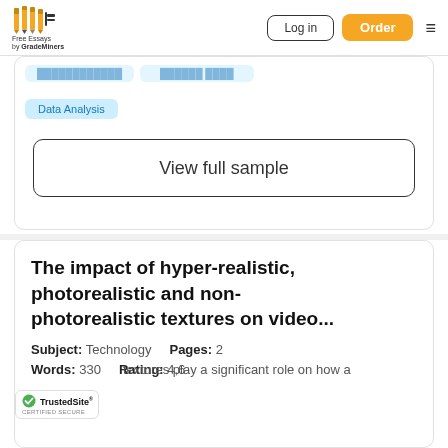Free Essays by GradeMiners | Log in | Order
Data Analysis
View full sample
The impact of hyper-realistic, photorealistic and non-photorealistic textures on video...
Subject: Technology   Pages: 2   Words: 330   Rating: 4,6
textures play a significant role on how a